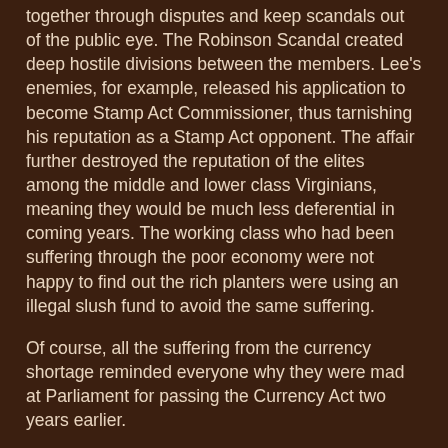together through disputes and keep scandals out of the public eye. The Robinson Scandal created deep hostile divisions between the members. Lee's enemies, for example, released his application to become Stamp Act Commissioner, thus tarnishing his reputation as a Stamp Act opponent. The affair further destroyed the reputation of the elites among the middle and lower class Virginians, meaning they would be much less deferential in coming years. The working class who had been suffering through the poor economy were not happy to find out the rich planters were using an illegal slush fund to avoid the same suffering.
Of course, all the suffering from the currency shortage reminded everyone why they were mad at Parliament for passing the Currency Act two years earlier.
The Free Port Act of 1766
Back in London, Parliament was still messing around with trade laws. A few months after the Stamp Act Repeal, Rockingham's ministry led Parliamentary passage of the Free Port Act of 1766 and a few related bills, making